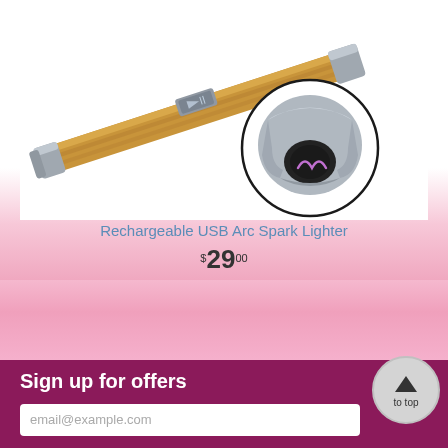[Figure (photo): Product photo of a rechargeable USB arc spark lighter with a wooden/bamboo-style body and silver metal tip, with a circular inset showing the arc mechanism detail]
Rechargeable USB Arc Spark Lighter
$29.00
Sign up for offers
email@example.com